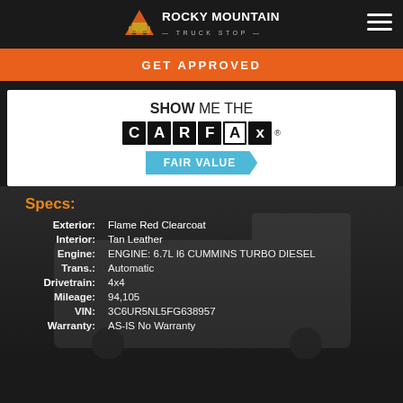Rocky Mountain Truck Stop
GET APPROVED
[Figure (logo): Show Me The CARFAX logo with FAIR VALUE badge]
Specs:
| Label | Value |
| --- | --- |
| Exterior: | Flame Red Clearcoat |
| Interior: | Tan Leather |
| Engine: | ENGINE: 6.7L I6 CUMMINS TURBO DIESEL |
| Trans.: | Automatic |
| Drivetrain: | 4x4 |
| Mileage: | 94,105 |
| VIN: | 3C6UR5NL5FG638957 |
| Warranty: | AS-IS No Warranty |